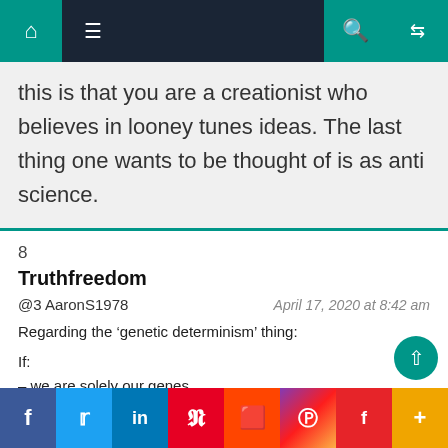Navigation bar with home, menu, search, and shuffle icons
this is that you are a creationist who believes in looney tunes ideas. The last thing one wants to be thought of is as anti science.
8
Truthfreedom
@3 AaronS1978
April 17, 2020 at 8:42 am
Regarding the ‘genetic determinism’ thing:
If:
– we are solely our genes
– then ‘logical processes’ are also determined via genes
Social share bar: Facebook, Twitter, LinkedIn, Pinterest, Reddit, Instagram, Flipboard, More